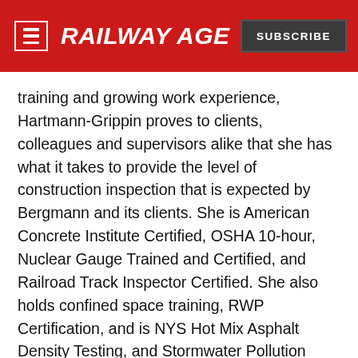RAILWAY AGE | SUBSCRIBE
training and growing work experience, Hartmann-Grippin proves to clients, colleagues and supervisors alike that she has what it takes to provide the level of construction inspection that is expected by Bergmann and its clients. She is American Concrete Institute Certified, OSHA 10-hour, Nuclear Gauge Trained and Certified, and Railroad Track Inspector Certified. She also holds confined space training, RWP Certification, and is NYS Hot Mix Asphalt Density Testing, and Stormwater Pollution Prevention Plan Trained. Hartmann-Grippin earned an Associate of Applied Science degree from Hudson Valley (N.Y.) Community College. Among her goals: obtaining Project Management Professional